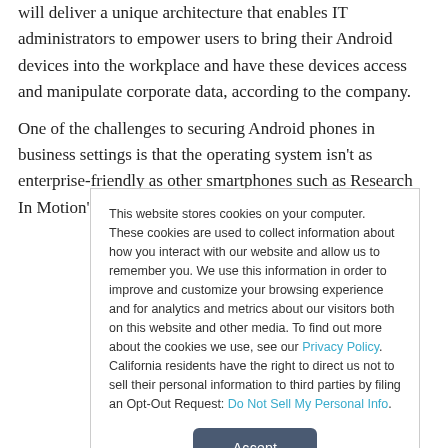will deliver a unique architecture that enables IT administrators to empower users to bring their Android devices into the workplace and have these devices access and manipulate corporate data, according to the company.
One of the challenges to securing Android phones in business settings is that the operating system isn't as enterprise-friendly as other smartphones such as Research In Motion's (RIM)
This website stores cookies on your computer. These cookies are used to collect information about how you interact with our website and allow us to remember you. We use this information in order to improve and customize your browsing experience and for analytics and metrics about our visitors both on this website and other media. To find out more about the cookies we use, see our Privacy Policy. California residents have the right to direct us not to sell their personal information to third parties by filing an Opt-Out Request: Do Not Sell My Personal Info.